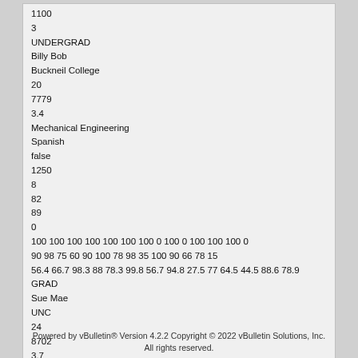1100
3
UNDERGRAD
Billy Bob
Buckneil College
20
7779
3.4
Mechanical Engineering
Spanish
false
1250
8
82
89
0
100 100 100 100 100 100 100 0 100 0 100 100 100 0
90 98 75 60 90 100 78 98 35 100 90 66 78 15
56.4 66.7 98.3 88 78.3 99.8 56.7 94.8 27.5 77 64.5 44.5 88.6 78.9
GRAD
Sue Mae
UNC
24
8702
3.7
Biology and Chemistry
none
true
Masters
1300

Any reason it's not reading it right?
Powered by vBulletin® Version 4.2.2 Copyright © 2022 vBulletin Solutions, Inc.
All rights reserved.